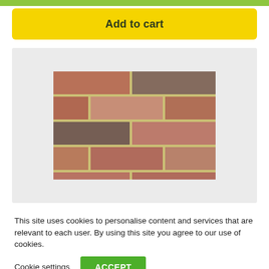[Figure (other): Green horizontal bar at top of page]
Add to cart
[Figure (photo): Close-up photograph of a brick wall showing multiple rows of reddish-brown bricks with yellow/cream mortar joints, some bricks with darker patches]
This site uses cookies to personalise content and services that are relevant to each user. By using this site you agree to our use of cookies.
Cookie settings
ACCEPT